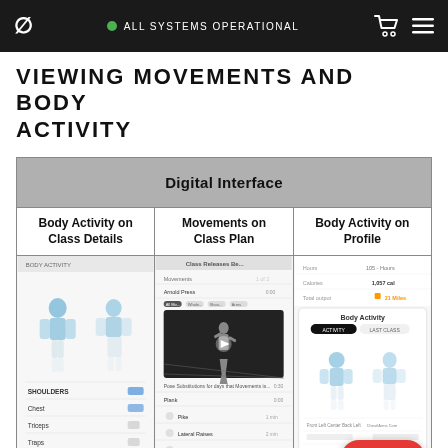ALL SYSTEMS OPERATIONAL
VIEWING MOVEMENTS AND BODY ACTIVITY
| Digital Interface |  |  |
| --- | --- | --- |
| Body Activity on Class Details | Movements on Class Plan | Body Activity on Profile |
| [screenshot: body activity interface with body diagrams] | [screenshot: class plan with video] | [screenshot: body activity on profile] |